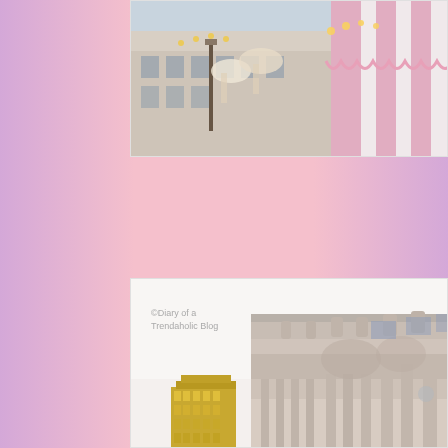[Figure (photo): Top cropped photo showing carousel horses and a pink and white striped tent/awning with a historic stone building in the background, winter scene with bare trees and decorative lights.]
[Figure (photo): Photo of an ornate classical/Beaux-Arts style building shot from a low angle looking up, showing elaborate carved stone facade with columns, arches, and decorative elements. A golden/yellow art deco building is visible in the lower left. Watermark reads: ©Diary of a Trendaholic Blog]